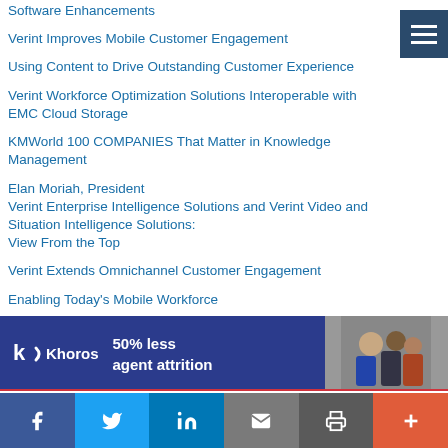Software Enhancements
Verint Improves Mobile Customer Engagement
Using Content to Drive Outstanding Customer Experience
Verint Workforce Optimization Solutions Interoperable with EMC Cloud Storage
KMWorld 100 COMPANIES That Matter in Knowledge Management
Elan Moriah, President
Verint Enterprise Intelligence Solutions and Verint Video and Situation Intelligence Solutions:
View From the Top
Verint Extends Omnichannel Customer Engagement
Enabling Today's Mobile Workforce
KM is the New Black
[Figure (infographic): Khoros advertisement banner: '50% less agent attrition' with photo of diverse team]
Social share bar: Facebook, Twitter, LinkedIn, Email, Print, Plus